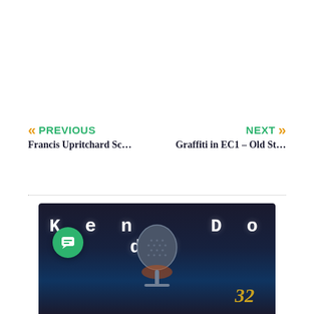PREVIOUS — Francis Upritchard Sc...
NEXT — Graffiti in EC1 – Old St...
[Figure (photo): Promotional image for Ken Dodd featuring white text spelling 'Ken Dodd' on a dark background with a microphone and the number 32 in gold/yellow]